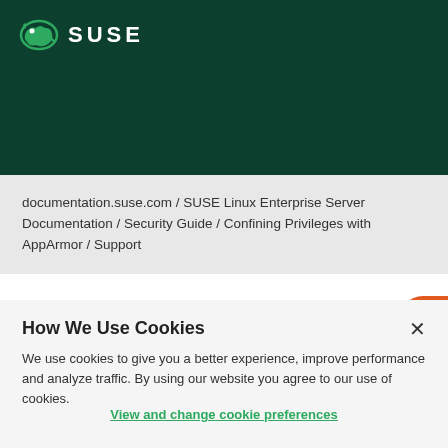[Figure (logo): SUSE logo with chameleon icon in white on dark green background, text reads SUSE]
documentation.suse.com / SUSE Linux Enterprise Server Documentation / Security Guide / Confining Privileges with AppArmor / Support
How We Use Cookies
We use cookies to give you a better experience, improve performance and analyze traffic. By using our website you agree to our use of cookies.
View and change cookie preferences